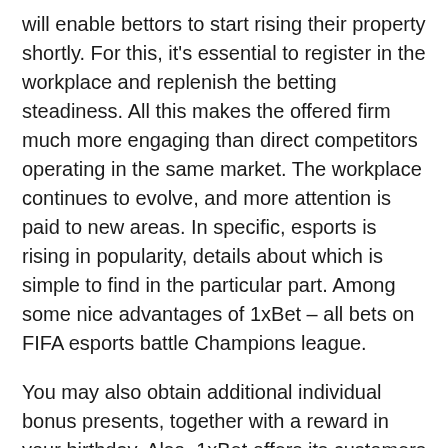will enable bettors to start rising their property shortly. For this, it's essential to register in the workplace and replenish the betting steadiness. All this makes the offered firm much more engaging than direct competitors operating in the same market. The workplace continues to evolve, and more attention is paid to new areas. In specific, esports is rising in popularity, details about which is simple to find in the particular part. Among some nice advantages of 1xBet – all bets on FIFA esports battle Champions league.
You may also obtain additional individual bonus presents, together with a reward in your birthday. Also, 1xBet offers its customers the chance to take part in a singular loyalty program. In order to make use of 1xbet mobile app, it is enough to observe the easy instructions. For example, when it comes to steadiness replenishment, you can use a number of fee providers. It is price noting that the bookmaker presents new variations of its growth often. Moreover, typically they are not simply gentle updates however model transformations that make the use of the 1xbet app even